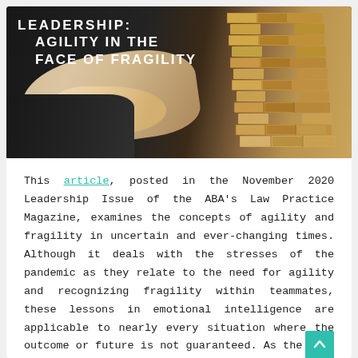[Figure (photo): Header image showing a hand pulling a block from a Jenga tower, with overlaid bold white text reading 'LEADERSHIP: AGILITY IN THE FACE OF FRAGILITY' on a dark background.]
This article, posted in the November 2020 Leadership Issue of the ABA's Law Practice Magazine, examines the concepts of agility and fragility in uncertain and ever-changing times. Although it deals with the stresses of the pandemic as they relate to the need for agility and recognizing fragility within teammates, these lessons in emotional intelligence are applicable to nearly every situation where the outcome or future is not guaranteed. As the